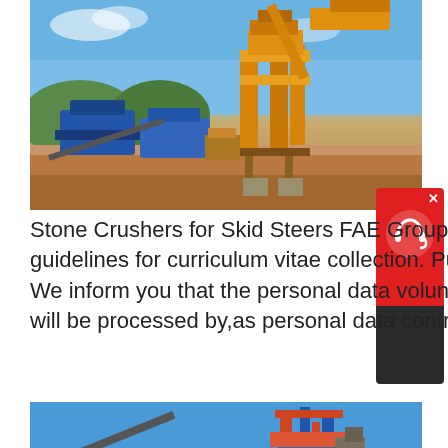[Figure (photo): Outdoor quarry/mining stone crusher machinery with orange crane structure and blue machines in foreground, sandy ground, blue sky with clouds]
Stone Crushers for Skid Steers FAE Group Close. Website guidelines for curriculum vitae collection. Purpose of processing We inform you that the personal data voluntarily provided by you will be processed by,as personal data controller,
get price
[Figure (photo): Industrial stone crushing plant against blue sky, with metal structures and conveyor belts visible]